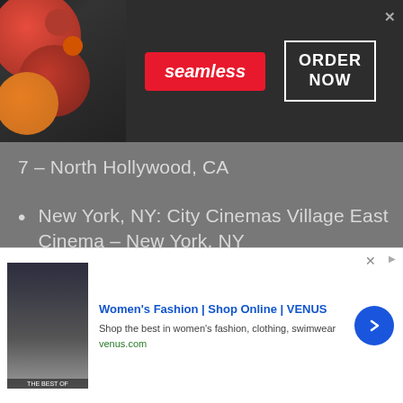[Figure (screenshot): Seamless food delivery advertisement banner with pizza image on left, red Seamless logo badge in center, and ORDER NOW box on right. Dark background.]
7 – North Hollywood, CA
New York, NY: City Cinemas Village East Cinema – New York, NY
Palm Desert, CA: Tristone Palm Desert 10 Cinemas – Palm Desert, CA
[Figure (screenshot): Women's Fashion | Shop Online | VENUS advertisement. Shop the best in women's fashion, clothing, swimwear. venus.com. Blue arrow button on right.]